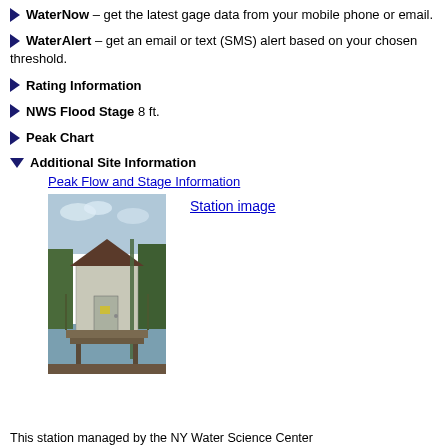WaterNow – get the latest gage data from your mobile phone or email.
WaterAlert – get an email or text (SMS) alert based on your chosen threshold.
Rating Information
NWS Flood Stage 8 ft.
Peak Chart
Additional Site Information
Peak Flow and Stage Information
[Figure (photo): Photo of a small white stream gage station house with a dark shingled roof, located on a dock or platform over a river, with trees in the background.]
Station image
This station managed by the NY Water Science Center